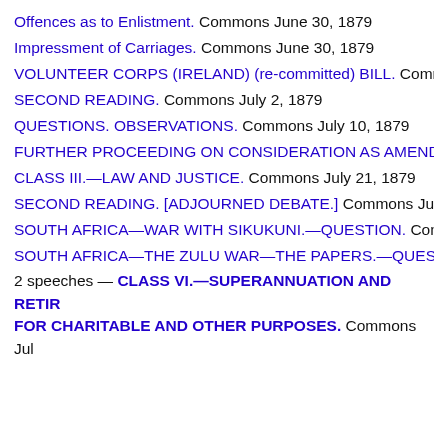Offences as to Enlistment. Commons June 30, 1879
Impressment of Carriages. Commons June 30, 1879
VOLUNTEER CORPS (IRELAND) (re-committed) BILL. Commons [truncated]
SECOND READING. Commons July 2, 1879
QUESTIONS. OBSERVATIONS. Commons July 10, 1879
FURTHER PROCEEDING ON CONSIDERATION AS AMEND[truncated]
CLASS III.—LAW AND JUSTICE. Commons July 21, 1879
SECOND READING. [ADJOURNED DEBATE.] Commons July[truncated]
SOUTH AFRICA—WAR WITH SIKUKUNI.—QUESTION. Com[truncated]
SOUTH AFRICA—THE ZULU WAR—THE PAPERS.—QUEST[truncated]
2 speeches — CLASS VI.—SUPERANNUATION AND RETIR[truncated] FOR CHARITABLE AND OTHER PURPOSES. Commons Jul[truncated]